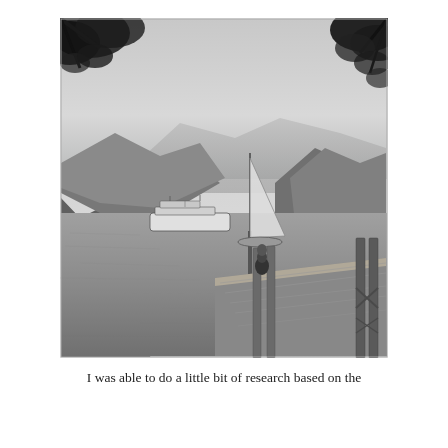[Figure (photo): Black and white photograph of a lake scene. A person stands on a wooden dock/pier in the foreground, looking out over calm water. A sailboat with a tall mast and a larger motorboat are visible on the lake. Mountains rise on both sides in the background. Tree branches with leaves frame the upper corners of the image.]
I was able to do a little bit of research based on the